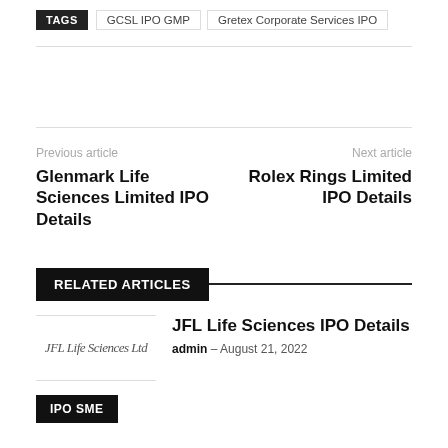TAGS  GCSL IPO GMP  Gretex Corporate Services IPO
Previous article
Glenmark Life Sciences Limited IPO Details
Next article
Rolex Rings Limited IPO Details
RELATED ARTICLES
[Figure (logo): JFL Life Sciences Ltd logo in italic script]
JFL Life Sciences IPO Details
admin – August 21, 2022
IPO SME